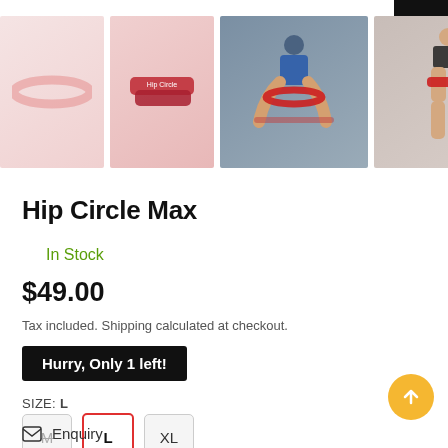[Figure (photo): Product thumbnail images: pink resistance band on white background, red folded hip circle bands, person squatting in gym with red band around thighs, person standing with red band around thighs]
Hip Circle Max
In Stock
$49.00
Tax included. Shipping calculated at checkout.
Hurry, Only 1 left!
SIZE: L
M  L  XL
Enquiry